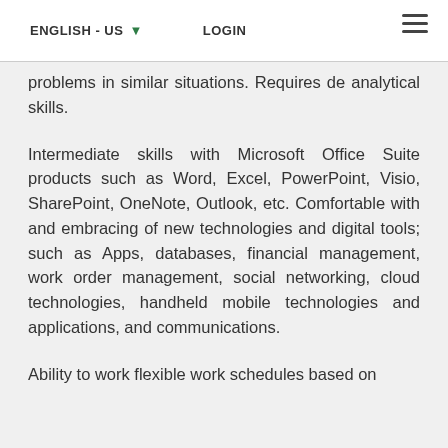ENGLISH - US ▼   LOGIN
problems in similar situations. Requires de analytical skills.
Intermediate skills with Microsoft Office Suite products such as Word, Excel, PowerPoint, Visio, SharePoint, OneNote, Outlook, etc. Comfortable with and embracing of new technologies and digital tools; such as Apps, databases, financial management, work order management, social networking, cloud technologies, handheld mobile technologies and applications, and communications.
Ability to work flexible work schedules based on